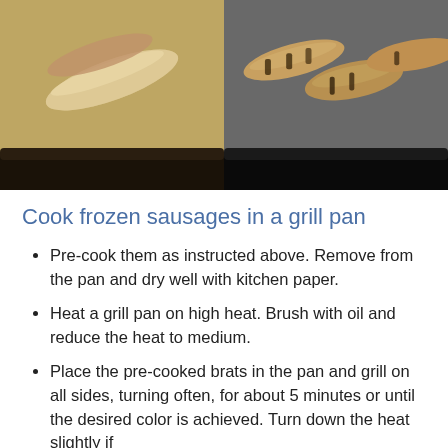[Figure (photo): Two side-by-side photos of sausages on a grill pan: left shows raw/pale sausages, right shows cooked/browned sausages with grill marks]
Cook frozen sausages in a grill pan
Pre-cook them as instructed above. Remove from the pan and dry well with kitchen paper.
Heat a grill pan on high heat. Brush with oil and reduce the heat to medium.
Place the pre-cooked brats in the pan and grill on all sides, turning often, for about 5 minutes or until the desired color is achieved. Turn down the heat slightly if